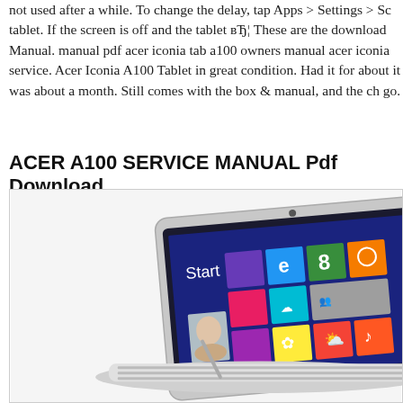not used after a while. To change the delay, tap Apps > Settings > Sc tablet. If the screen is off and the tablet вЂ¦ These are the download Manual. manual pdf acer iconia tab a100 owners manual acer iconia service. Acer Iconia A100 Tablet in great condition. Had it for about it was about a month. Still comes with the box & manual, and the ch go.
ACER A100 SERVICE MANUAL Pdf Download.
[Figure (photo): Photo of an Acer tablet (Windows 8 Start screen visible) with a white keyboard/stand, shown at an angle. The tablet screen displays the Windows 8 Start menu with colorful tiles including internet explorer, games, photos, music, weather, and other app tiles.]